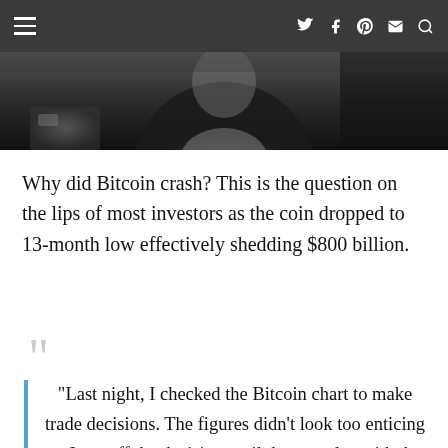≡  𝕏 f 𝗽 ✉ 🔍
[Figure (photo): Partial view of a person in a vehicle, dark interior shot cropped at top portion showing upper body/head area in shadow]
Why did Bitcoin crash? This is the question on the lips of most investors as the coin dropped to 13-month low effectively shedding $800 billion.
“Last night, I checked the Bitcoin chart to make trade decisions. The figures didn’t look too enticing so I put off the decision until the next day with the hope things shape up better by morning”